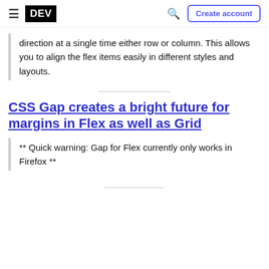DEV | Create account
direction at a single time either row or column. This allows you to align the flex items easily in different styles and layouts.
CSS Gap creates a bright future for margins in Flex as well as Grid
** Quick warning: Gap for Flex currently only works in Firefox **